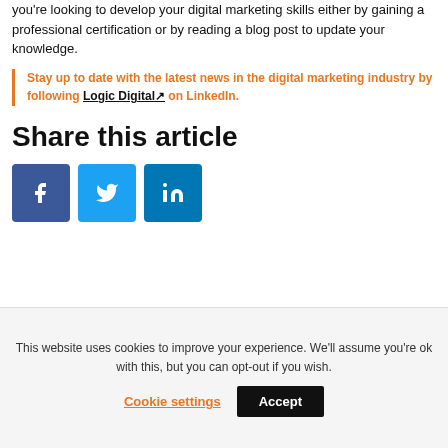you're looking to develop your digital marketing skills either by gaining a professional certification or by reading a blog post to update your knowledge.
Stay up to date with the latest news in the digital marketing industry by following Logic Digital on LinkedIn.
Share this article
[Figure (infographic): Social share buttons: Facebook (blue), Twitter (light blue), LinkedIn (dark blue)]
This website uses cookies to improve your experience. We'll assume you're ok with this, but you can opt-out if you wish.
Cookie settings | Accept